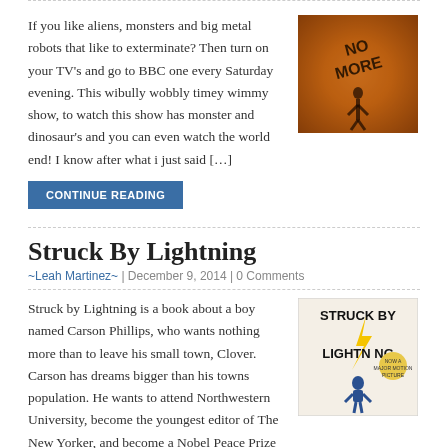If you like aliens, monsters and big metal robots that like to exterminate? Then turn on your TV's and go to BBC one every Saturday evening. This wibully wobbly timey wimmy show, to watch this show has monster and dinosaur's and you can even watch the world end! I know after what i just said […]
[Figure (photo): A dark orange/amber toned image showing a figure with the text 'NO MORE' written in large letters]
CONTINUE READING
Struck By Lightning
~Leah Martinez~ | December 9, 2014 | 0 Comments
Struck by Lightning is a book about a boy named Carson Phillips, who wants nothing more than to leave his small town, Clover. Carson has dreams bigger than his towns population. He wants to attend Northwestern University, become the youngest editor of The New Yorker, and become a Nobel Peace Prize winner. He will stop […]
[Figure (photo): Book cover of 'Struck By Lightning' showing bold text and a cartoon figure of a boy crouching]
CONTINUE READING